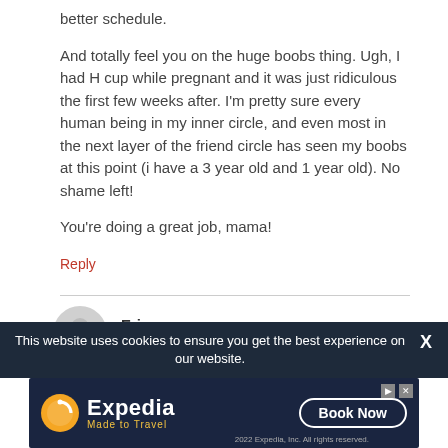better schedule.
And totally feel you on the huge boobs thing. Ugh, I had H cup while pregnant and it was just ridiculous the first few weeks after. I'm pretty sure every human being in my inner circle, and even most in the next layer of the friend circle has seen my boobs at this point (i have a 3 year old and 1 year old). No shame left!
You're doing a great job, mama!
Reply
Erica says:
November 27, 2018 at 12:45 pm
This website uses cookies to ensure you get the best experience on our website.
[Figure (other): Expedia advertisement banner with logo, Made to Travel tagline, and Book Now button]